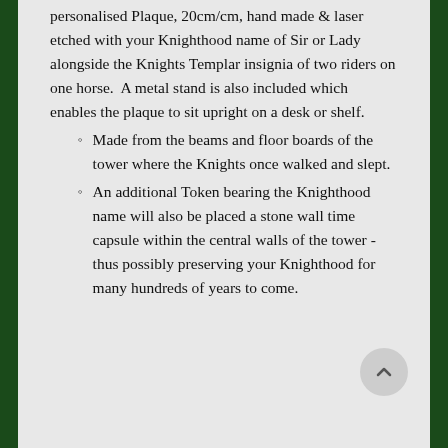personalised Plaque, 20cm/cm, hand made & laser etched with your Knighthood name of Sir or Lady alongside the Knights Templar insignia of two riders on one horse.  A metal stand is also included which enables the plaque to sit upright on a desk or shelf.
Made from the beams and floor boards of the tower where the Knights once walked and slept.
An additional Token bearing the Knighthood name will also be placed a stone wall time capsule within the central walls of the tower - thus possibly preserving your Knighthood for many hundreds of years to come.